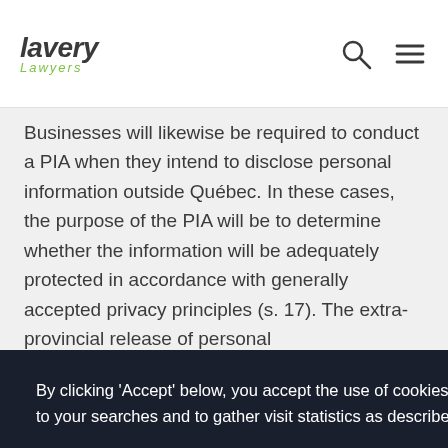lavery Lawyers
Businesses will likewise be required to conduct a PIA when they intend to disclose personal information outside Québec. In these cases, the purpose of the PIA will be to determine whether the information will be adequately protected in accordance with generally accepted privacy principles (s. 17). The extra-provincial release of personal [information] ... [ent] ... [ts of] ... [greed] ... for ... [o a] ... [gard,]
By clicking 'Accept' below, you accept the use of cookies to offer you quality content adapted to your searches and to gather visit statistics as described in our cookies policy.
REFUSE
ACCEPT